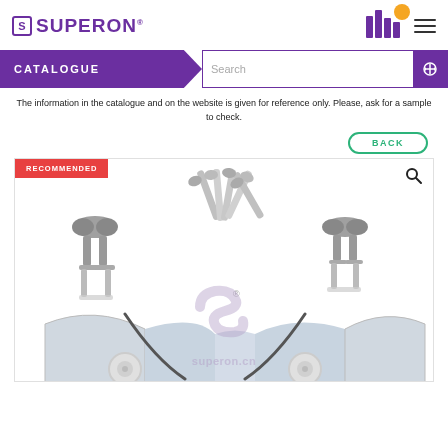SUPERON
CATALOGUE
The information in the catalogue and on the website is given for reference only. Please, ask for a sample to check.
BACK
[Figure (photo): Product photo showing sliding door hardware components including rollers/hangers, screws, and track mounting brackets with RECOMMENDED badge and superon.cn watermark]